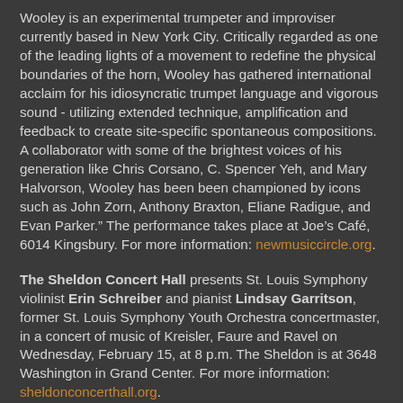Wooley is an experimental trumpeter and improviser currently based in New York City. Critically regarded as one of the leading lights of a movement to redefine the physical boundaries of the horn, Wooley has gathered international acclaim for his idiosyncratic trumpet language and vigorous sound - utilizing extended technique, amplification and feedback to create site-specific spontaneous compositions. A collaborator with some of the brightest voices of his generation like Chris Corsano, C. Spencer Yeh, and Mary Halvorson, Wooley has been been championed by icons such as John Zorn, Anthony Braxton, Eliane Radigue, and Evan Parker." The performance takes place at Joe's Café, 6014 Kingsbury. For more information: newmusiccircle.org.
The Sheldon Concert Hall presents St. Louis Symphony violinist Erin Schreiber and pianist Lindsay Garritson, former St. Louis Symphony Youth Orchestra concertmaster, in a concert of music of Kreisler, Faure and Ravel on Wednesday, February 15, at 8 p.m. The Sheldon is at 3648 Washington in Grand Center. For more information: sheldonconcerthall.org.